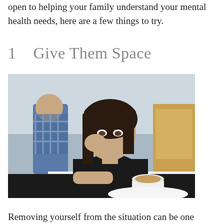open to helping your family understand your mental health needs, here are a few things to try.
1    Give Them Space
[Figure (photo): A young woman with dark hair sitting alone at a cafe table, resting her cheek on her hand, holding a coffee cup, looking contemplative. A blurred man and street scene visible through the window behind her.]
Removing yourself from the situation can be one